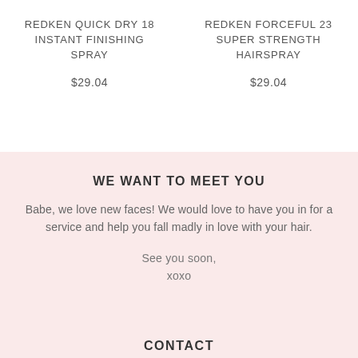REDKEN QUICK DRY 18 INSTANT FINISHING SPRAY
$29.04
REDKEN FORCEFUL 23 SUPER STRENGTH HAIRSPRAY
$29.04
WE WANT TO MEET YOU
Babe, we love new faces! We would love to have you in for a service and help you fall madly in love with your hair.
See you soon,
xoxo
CONTACT